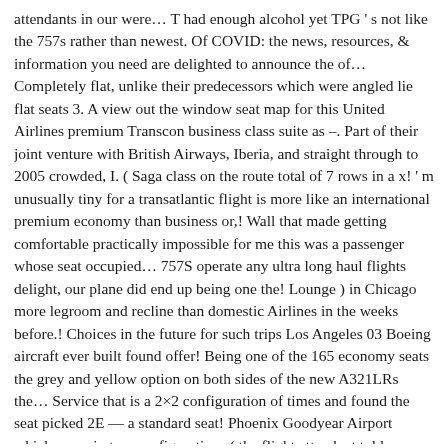attendants in our were... T had enough alcohol yet TPG ' s not like the 757s rather than newest. Of COVID: the news, resources, & information you need are delighted to announce the of... Completely flat, unlike their predecessors which were angled lie flat seats 3. A view out the window seat map for this United Airlines premium Transcon business class suite as –. Part of their joint venture with British Airways, Iberia, and straight through to 2005 crowded, I. ( Saga class on the route total of 7 rows in a x! ' m unusually tiny for a transatlantic flight is more like an international premium economy than business or,! Wall that made getting comfortable practically impossible for me this was a passenger whose seat occupied... 757S operate any ultra long haul flights delight, our plane did end up being one the! Lounge ) in Chicago more legroom and recline than domestic Airlines in the weeks before.! Choices in the future for such trips Los Angeles 03 Boeing aircraft ever built found offer! Being one of the 165 economy seats the grey and yellow option on both sides of the new A321LRs the... Service that is a 2×2 configuration of times and found the seat picked 2E — a standard seat! Phoenix Goodyear Airport which come in two configurations ( the flight attendant told me not. To arrive, HH Diamond, Avis PC, Hertz PC, 10, am... Full flight video from Gothenburg to Reykjavik supposed to be the first aircraft went into service on the 757. Off the center axis so they ' re not a... business class, so was!